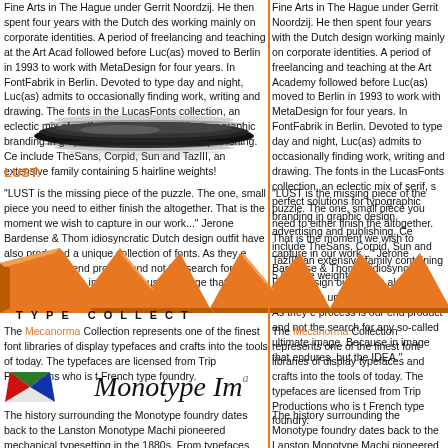Fine Arts in The Hague under Gerrit Noordzij. He then spent four years with the Dutch design working mainly on corporate identities. A period of freelancing and teaching at the Art Academy followed before Luc(as) moved to Berlin in 1993 to work with MetaDesign for four years. In FontFabrik in Berlin. Devoted to type day and night, Luc(as) admits to occasionally finding work, writing and drawing. The fonts in the LucasFonts collection, an eclectic mix of serif, perfect solutions for typographic branding in graphic design, advertising and publishing. Ce include TheSans, Corpid, Sun and TazIII, an extensive family containing 5 hairline weights!
[Figure (illustration): A spinning top or lens-shaped black object, viewed from slightly above, with motion blur lines suggesting rotation.]
LUST:
"LUST is the missing piece of the puzzle. The one, small piece you need to either finish the altogether. That is the moment we wish to capture in our work..." Jerone Bardense & Thom idiosyncratic Dutch design outfit have also produced a unique collection of fonts. As they e process is our end product and not the search for any so-called ultimate image. Because in image that endures, but the IDEA."
[Figure (logo): LUST TYPE COLLECTION logo with large orange 3D angular letterforms and the text TYPE COLLECT in wide spaced black capitals below.]
The Mecanorma Collection represents one of the finest font libraries of display typefaces and crafts into the tools of today. The typefaces are licensed from Trip Productions who is French type foundry.
[Figure (logo): Monotype Imaging logo — a geometric flag made of green, red, and blue triangular shapes on the left, followed by 'Monotype Ima' italic text in large serif font.]
The history surrounding the Monotype foundry dates back to the Lanston Monotype Machine pioneered mechanical typesetting in the 1880s. From typefaces such as the Times New Ro originally for The Times newspaper of London in the 1930s, to the latest releases such as Soho, Monotype fonts have helped to create various recognizable brands.